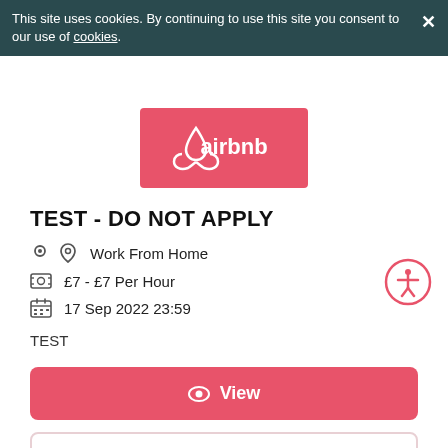This site uses cookies. By continuing to use this site you consent to our use of cookies.
[Figure (logo): Airbnb logo on coral/red background]
TEST - DO NOT APPLY
Work From Home
£7 - £7 Per Hour
17 Sep 2022 23:59
TEST
View
Save